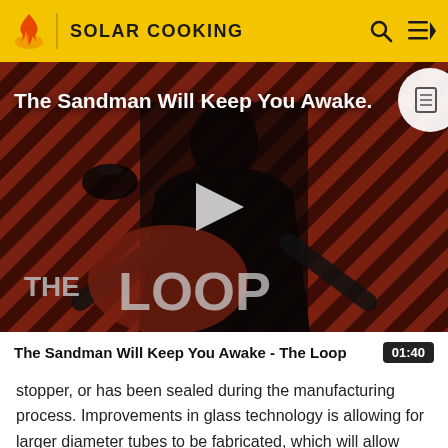SOLAR COOKING
[Figure (screenshot): Video thumbnail showing a dark-dressed figure against a red diagonal stripe background with 'THE LOOP' text overlay. Title reads 'The Sandman Will Keep You Awake.' with a play button in the center.]
The Sandman Will Keep You Awake - The Loop
stopper, or has been sealed during the manufacturing process. Improvements in glass technology is allowing for larger diameter tubes to be fabricated, which will allow